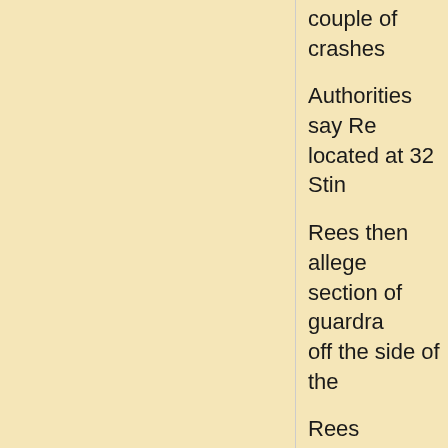couple of crashes
Authorities say Re- located at 32 Stin-
Rees then alleged- section of guardra- off the side of the
Rees apparently h- was not injured in
Posted by Solomo-
No comments:
R